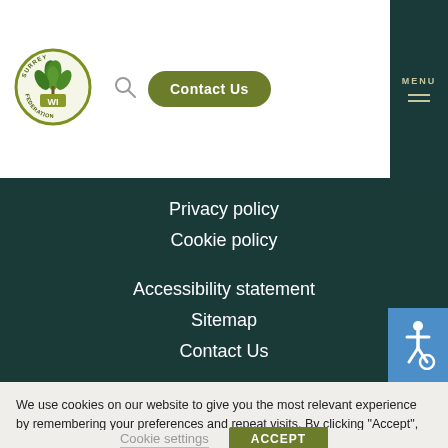[Figure (logo): Surrey WI Federation circular logo with green leaf design and text around border]
[Figure (other): Search icon (magnifying glass)]
Contact Us
MENU
Privacy policy
Cookie policy
Accessibility statement
Sitemap
Contact Us
[Figure (other): Accessibility wheelchair icon in blue square]
We use cookies on our website to give you the most relevant experience by remembering your preferences and repeat visits. By clicking “Accept”, you consent to the use of ALL the cookies. However you may visit Cookie Settings to provide a controlled consent.
Cookie settings
ACCEPT